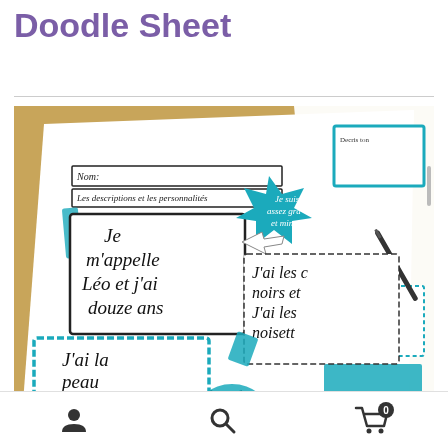Doodle Sheet
[Figure (photo): Photo of a French language doodle sheet worksheet showing text boxes with French phrases about physical descriptions including 'Je m'appelle Léo et j'ai douze ans', 'J'ai la peau claire avec des taches de', 'J'ai les cheveux noirs', 'J'ai les yeux noisette', with teal/turquoise dashed borders and decorative elements.]
User icon, Search icon, Cart icon with badge 0